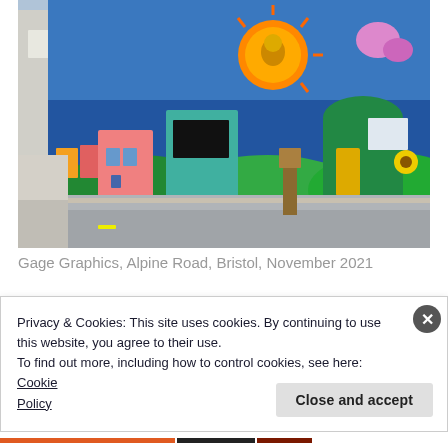[Figure (photo): Street-level photograph of buildings covered in a colorful mural by Gage Graphics on Alpine Road, Bristol. The mural features cartoon-style houses in pastel colors on the left, a large orange sun with a lion in the center, rolling green hills, a sunflower, and vibrant blue sky. Real building windows and a yellow door are incorporated into the mural design.]
Gage Graphics, Alpine Road, Bristol, November 2021
Privacy & Cookies: This site uses cookies. By continuing to use this website, you agree to their use.
To find out more, including how to control cookies, see here: Cookie Policy